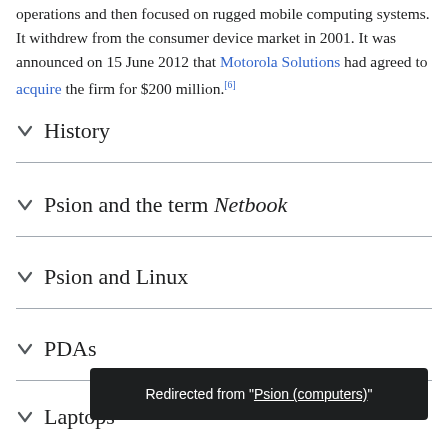(…). Psion closed, or disposed of, all its prior operations and then focused on rugged mobile computing systems. It withdrew from the consumer device market in 2001. It was announced on 15 June 2012 that Motorola Solutions had agreed to acquire the firm for $200 million.[6]
History
Psion and the term Netbook
Psion and Linux
PDAs
Laptops
Redirected from "Psion (computers)"